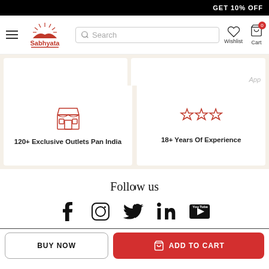GET 10% OFF
[Figure (logo): Sabhyata logo - red text with sun/building graphic]
Search
Wishlist
Cart 0
[Figure (infographic): Store icon above text: 120+ Exclusive Outlets Pan India]
[Figure (infographic): Three stars icon above text: 18+ Years Of Experience]
Follow us
[Figure (infographic): Social media icons: Facebook, Instagram, Twitter, LinkedIn, YouTube]
BUY NOW
ADD TO CART